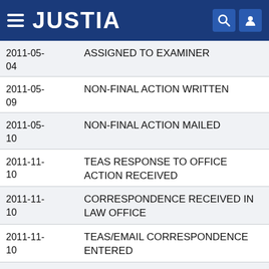JUSTIA
| Date | Event |
| --- | --- |
| 2011-05-04 | ASSIGNED TO EXAMINER |
| 2011-05-09 | NON-FINAL ACTION WRITTEN |
| 2011-05-10 | NON-FINAL ACTION MAILED |
| 2011-11-10 | TEAS RESPONSE TO OFFICE ACTION RECEIVED |
| 2011-11-10 | CORRESPONDENCE RECEIVED IN LAW OFFICE |
| 2011-11-10 | TEAS/EMAIL CORRESPONDENCE ENTERED |
| 2011-12-05 | NON-FINAL ACTION WRITTEN |